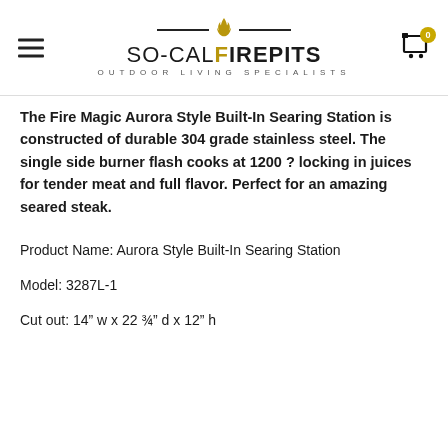SO-CALFIREPITS OUTDOOR LIVING SPECIALISTS
The Fire Magic Aurora Style Built-In Searing Station is constructed of durable 304 grade stainless steel. The single side burner flash cooks at 1200 ? locking in juices for tender meat and full flavor. Perfect for an amazing seared steak.
Product Name: Aurora Style Built-In Searing Station
Model: 3287L-1
Cut out: 14" w x 22 ¾" d x 12" h